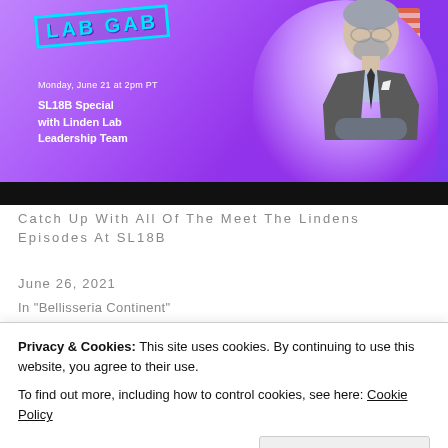[Figure (photo): Lab Gab promotional banner with purple/violet gradient background, showing a 3D avatar man in a grey suit with arms crossed, orange decorative stripes in background, text overlay: 'LAB GAB', 'Monday, June 21 at 2pm PT', 'SL18B Special with Linden Lab Leadership Team'. Dark black bar at bottom.]
Catch Up With All Of The Meet The Lindens Episodes At SL18B
June 26, 2021
In "Bellisseria Continent"
Privacy & Cookies: This site uses cookies. By continuing to use this website, you agree to their use.
To find out more, including how to control cookies, see here: Cookie Policy
Close and accept